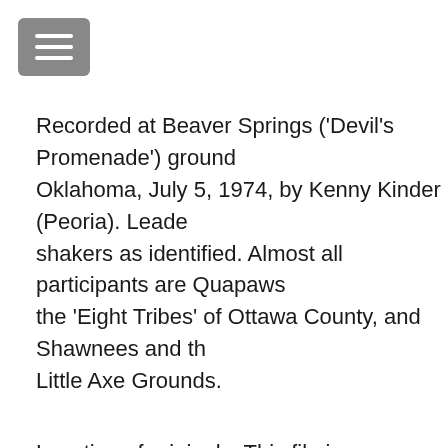[Figure (other): Navigation menu button icon with three horizontal white lines on a grey rounded rectangle background]
Recorded at Beaver Springs ('Devil's Promenade') grounds, Oklahoma, July 5, 1974, by Kenny Kinder (Peoria). Leaders and shakers as identified. Almost all participants are Quapaws and the 'Eight Tribes' of Ottawa County, and Shawnees and the Little Axe Grounds.
Location of originals: This file is a compressed, digitized version of the original. The APS Library maintains the original format (Audio) as well as an uncompressed digitized version of this recording.
General physical description: 00:44:02